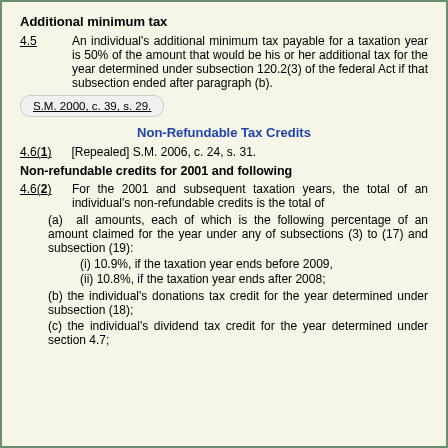Additional minimum tax
4.5   An individual's additional minimum tax payable for a taxation year is 50% of the amount that would be his or her additional tax for the year determined under subsection 120.2(3) of the federal Act if that subsection ended after paragraph (b).
S.M. 2000, c. 39, s. 29.
Non-Refundable Tax Credits
4.6(1)   [Repealed] S.M. 2006, c. 24, s. 31.
Non-refundable credits for 2001 and following
4.6(2)   For the 2001 and subsequent taxation years, the total of an individual's non-refundable credits is the total of
(a)  all amounts, each of which is the following percentage of an amount claimed for the year under any of subsections (3) to (17) and subsection (19):
(i) 10.9%, if the taxation year ends before 2009,
(ii) 10.8%, if the taxation year ends after 2008;
(b) the individual's donations tax credit for the year determined under subsection (18);
(c) the individual's dividend tax credit for the year determined under section 4.7;